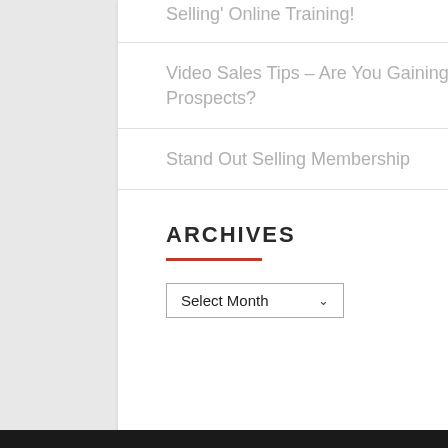Selling' Online Training!
Video Sales Tips – Are You Gaining The Respect Of Your Prospects?
Stand Out Selling Membership
ARCHIVES
Select Month